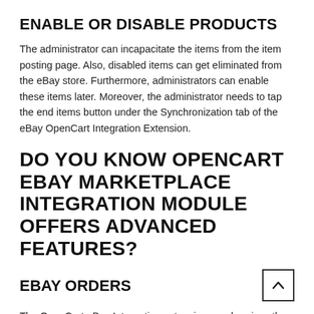ENABLE OR DISABLE PRODUCTS
The administrator can incapacitate the items from the item posting page. Also, disabled items can get eliminated from the eBay store. Furthermore, administrators can enable these items later. Moreover, the administrator needs to tap the end items button under the Synchronization tab of the eBay OpenCart Integration Extension.
DO YOU KNOW OPENCART EBAY MARKETPLACE INTEGRATION MODULE OFFERS ADVANCED FEATURES?
EBAY ORDERS
The OpenCart eBay Integration extension synchronizes the orders from the eBay Marketplace to the OpenCart store.